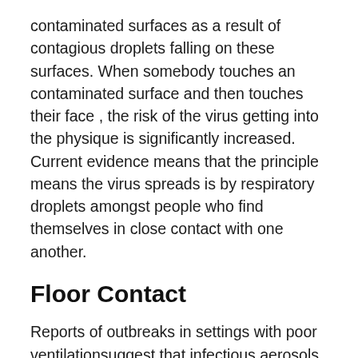contaminated surfaces as a result of contagious droplets falling on these surfaces. When somebody touches an contaminated surface and then touches their face , the risk of the virus getting into the physique is significantly increased. Current evidence means that the principle means the virus spreads is by respiratory droplets amongst people who find themselves in close contact with one another.
Floor Contact
Reports of outbreaks in settings with poor ventilationsuggest that infectious aerosols were suspended in the air and that individuals inhaled the virus. These settings have included a choir apply, fitness courses, and eating places. Transmission in